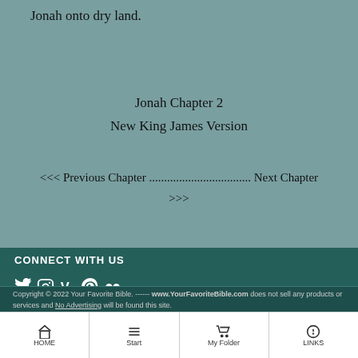Jonah onto dry land.
Jonah Chapter 2
New King James Version
<<< Previous Chapter .................................. Next Chapter >>>
CONNECT WITH US
[Figure (other): Social media icons: Twitter, Instagram, Vine, Pinterest, Flickr]
Copyright © 2022 Your Favorite Bible. ------ www.YourFavoriteBible.com does not sell any products or services and No Advertising will be found this site.
HOME | Start | My Folder | LINKS